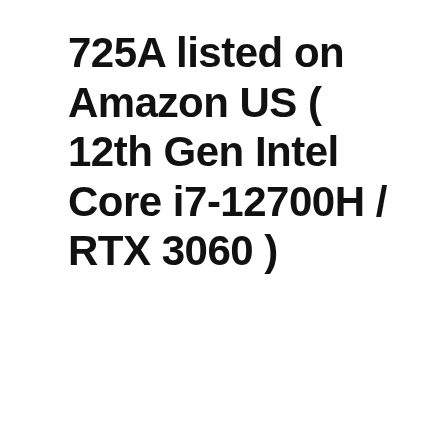725A listed on Amazon US ( 12th Gen Intel Core i7-12700H / RTX 3060 )